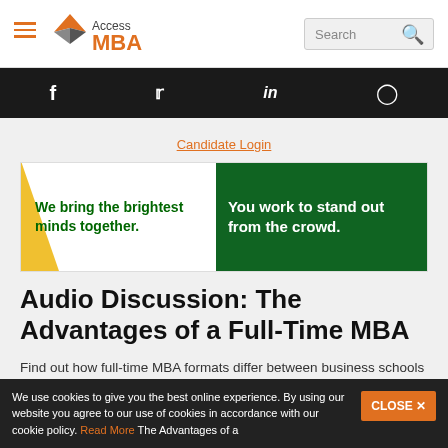Access MBA — Search
[Figure (screenshot): Access MBA website screenshot with header, social bar, banner ad, article title and cookie bar]
Candidate Login
We bring the brightest minds together. You work to stand out from the crowd.
Audio Discussion: The Advantages of a Full-Time MBA
Find out how full-time MBA formats differ between business schools and what the advantages of the full-time format are career-wise.
10 OCTOBER 2017
We use cookies to give you the best online experience. By using our website you agree to our use of cookies in accordance with our cookie policy. Read More The Advantages of a